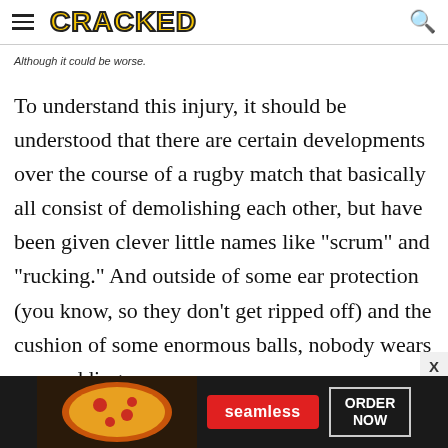CRACKED
Although it could be worse.
To understand this injury, it should be understood that there are certain developments over the course of a rugby match that basically all consist of demolishing each other, but have been given clever little names like "scrum" and "rucking." And outside of some ear protection (you know, so they don't get ripped off) and the cushion of some enormous balls, nobody wears any padding.
[Figure (screenshot): Seamless food delivery advertisement banner at the bottom of the page showing pizza, Seamless logo, and ORDER NOW button]